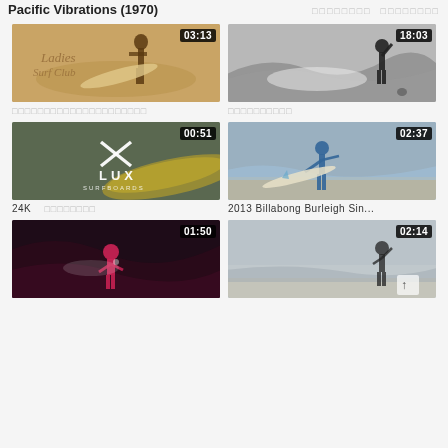Pacific Vibrations (1970)
[Figure (screenshot): Video thumbnail: sepia-toned surfing scene with woman and board, duration 03:13]
□□□□□□□□□□□□□□□□□□□□□
[Figure (screenshot): Video thumbnail: black and white surfer on wave, duration 18:03]
□□□□□□□□□□
[Figure (screenshot): Video thumbnail: LUX SURFBOARDS logo on surfboard, duration 00:51]
24K □□□□□□□□
[Figure (screenshot): Video thumbnail: surfer carrying board on beach, duration 02:37]
2013 Billabong Burleigh Sin...
[Figure (screenshot): Video thumbnail: dark dramatic surfing scene with pink wetsuit, duration 01:50]
[Figure (screenshot): Video thumbnail: surfer on grey beach scene, duration 02:14]